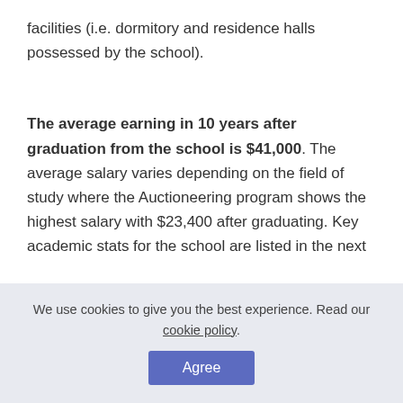facilities (i.e. dormitory and residence halls possessed by the school).
The average earning in 10 years after graduation from the school is $41,000. The average salary varies depending on the field of study where the Auctioneering program shows the highest salary with $23,400 after graduating. Key academic stats for the school are listed in the next
We use cookies to give you the best experience. Read our cookie policy.